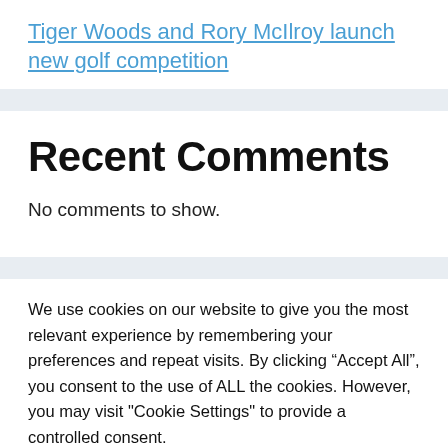Tiger Woods and Rory McIlroy launch new golf competition
Recent Comments
No comments to show.
We use cookies on our website to give you the most relevant experience by remembering your preferences and repeat visits. By clicking “Accept All”, you consent to the use of ALL the cookies. However, you may visit "Cookie Settings" to provide a controlled consent.
Cookie Settings | Accept All